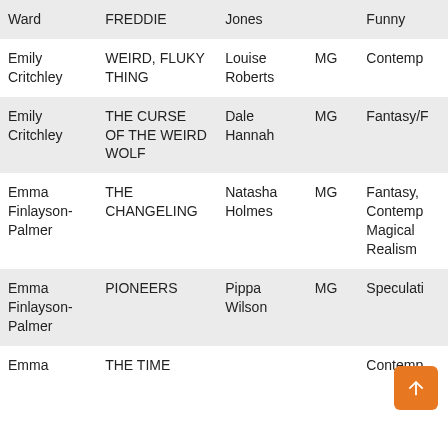| Author | Title | Editor/Agent | Level | Genre |
| --- | --- | --- | --- | --- |
| Ward | FREDDIE | Jones |  | Funny |
| Emily Critchley | WEIRD, FLUKY THING | Louise Roberts | MG | Contemp |
| Emily Critchley | THE CURSE OF THE WEIRD WOLF | Dale Hannah | MG | Fantasy/F |
| Emma Finlayson-Palmer | THE CHANGELING | Natasha Holmes | MG | Fantasy, Contemp Magical Realism |
| Emma Finlayson-Palmer | PIONEERS | Pippa Wilson | MG | Speculati |
| Emma | THE TIME |  |  | Contemp |